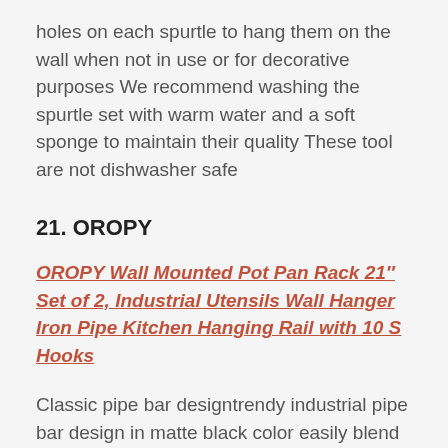holes on each spurtle to hang them on the wall when not in use or for decorative purposes We recommend washing the spurtle set with warm water and a soft sponge to maintain their quality These tool are not dishwasher safe
21. OROPY
OROPY Wall Mounted Pot Pan Rack 21″ Set of 2, Industrial Utensils Wall Hanger Iron Pipe Kitchen Hanging Rail with 10 S Hooks
Classic pipe bar designtrendy industrial pipe bar design in matte black color easily blend into any kitchen decoration styles What you will receive set of two 21